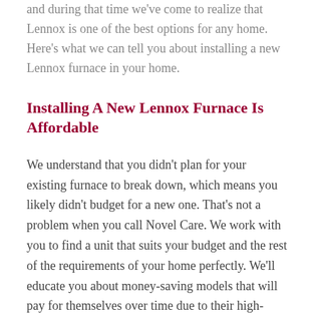and during that time we've come to realize that Lennox is one of the best options for any home. Here's what we can tell you about installing a new Lennox furnace in your home.
Installing A New Lennox Furnace Is Affordable
We understand that you didn't plan for your existing furnace to break down, which means you likely didn't budget for a new one. That's not a problem when you call Novel Care. We work with you to find a unit that suits your budget and the rest of the requirements of your home perfectly. We'll educate you about money-saving models that will pay for themselves over time due to their high-efficiency, but also about more cost-effective